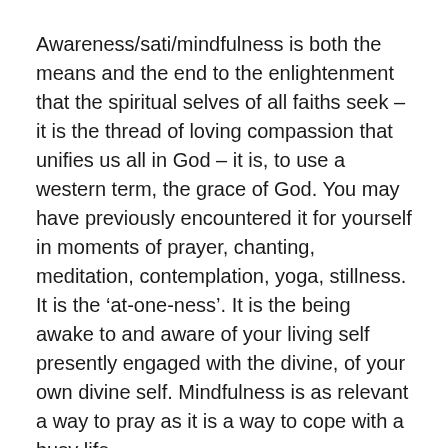Awareness/sati/mindfulness is both the means and the end to the enlightenment that the spiritual selves of all faiths seek – it is the thread of loving compassion that unifies us all in God – it is, to use a western term, the grace of God. You may have previously encountered it for yourself in moments of prayer, chanting, meditation, contemplation, yoga, stillness. It is the 'at-one-ness'. It is the being awake to and aware of your living self presently engaged with the divine, of your own divine self. Mindfulness is as relevant a way to pray as it is a way to cope with a busy life.
Mindfulness and full potential
To live to your full potential is to live – to really live. We often confuse living with doing and not being. We may think 'having a life' is all about parties, adventures…